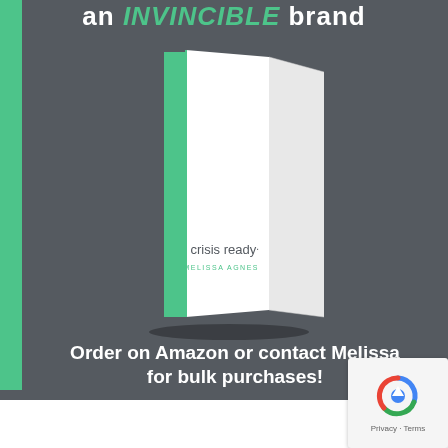an INVINCIBLE brand
[Figure (illustration): A 3D rendered book cover titled 'crisis ready.' by Melissa Agnes, white cover with green spine, standing upright against a dark gray background.]
Order on Amazon or contact Melissa for bulk purchases!